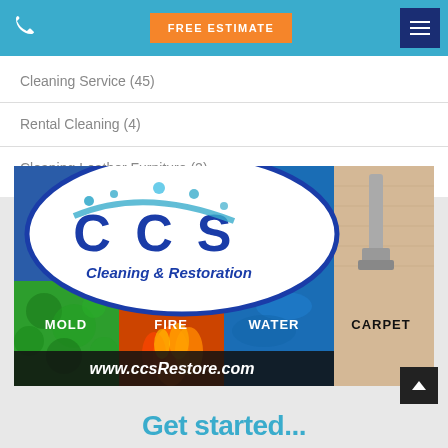FREE ESTIMATE
Cleaning Service (45)
Rental Cleaning (4)
Cleaning Leather Furniture (2)
[Figure (logo): CCS Cleaning & Restoration advertisement banner showing MOLD, FIRE, WATER, CARPET services with website www.ccsRestore.com]
Get started...